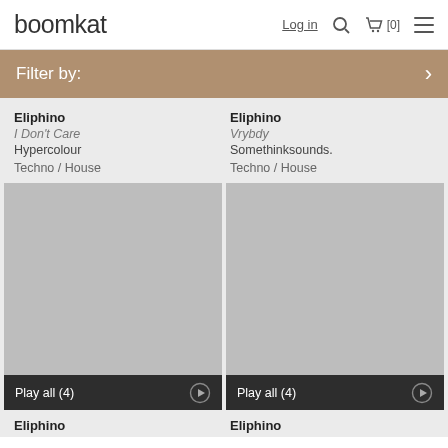boomkat  Log in  [0]
Filter by:
Eliphino
I Don't Care
Hypercolour
Techno / House
Eliphino
Vrybdy
Somethinksounds.
Techno / House
[Figure (photo): Album art placeholder grey square with Play all (4) bar at bottom]
[Figure (photo): Album art placeholder grey square with Play all (4) bar at bottom]
Eliphino
Eliphino